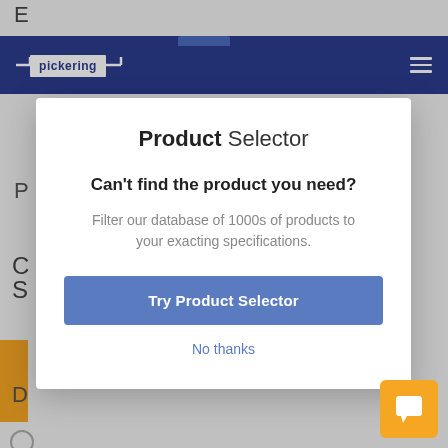pickering
Product Selector
Can't find the product you need?
Filter our database of 1000s of products to your exacting specifications.
Try Product Selector
No thanks